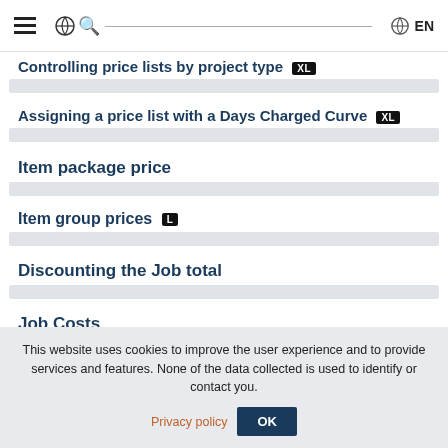≡  [search]  🌐 EN
Controlling price lists by project type XL
Assigning a price list with a Days Charged Curve XL
Item package price
Item group prices L
Discounting the Job total
Job Costs
This website uses cookies to improve the user experience and to provide services and features. None of the data collected is used to identify or contact you. Privacy policy  OK